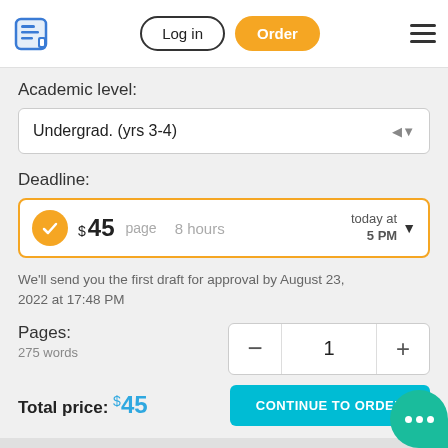Log in | Order
Academic level:
Undergrad. (yrs 3-4)
Deadline:
$45 page  8 hours  today at 5 PM
We'll send you the first draft for approval by August 23, 2022 at 17:48 PM
Pages:
275 words
Total price: $45
CONTINUE TO ORDER